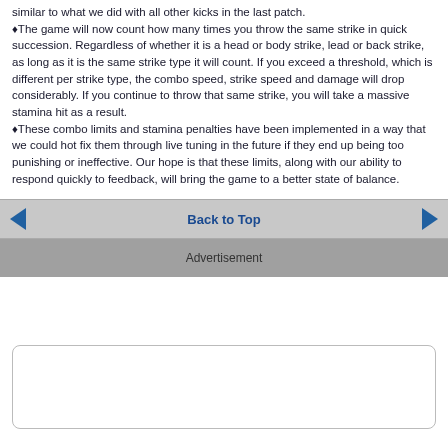similar to what we did with all other kicks in the last patch.
♦The game will now count how many times you throw the same strike in quick succession. Regardless of whether it is a head or body strike, lead or back strike, as long as it is the same strike type it will count. If you exceed a threshold, which is different per strike type, the combo speed, strike speed and damage will drop considerably. If you continue to throw that same strike, you will take a massive stamina hit as a result.
♦These combo limits and stamina penalties have been implemented in a way that we could hot fix them through live tuning in the future if they end up being too punishing or ineffective. Our hope is that these limits, along with our ability to respond quickly to feedback, will bring the game to a better state of balance.
Back to Top
Advertisement